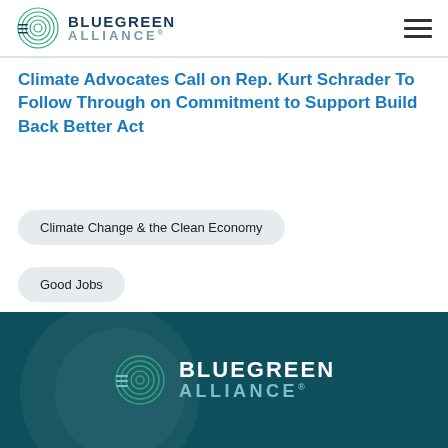BLUEGREEN ALLIANCE
Climate Advocates Call on Rep. Kurt Schrader To Follow Through on Commitment to Support Build Back Better Act
Climate Change & the Clean Economy
Good Jobs
The Latest
BLUEGREEN ALLIANCE